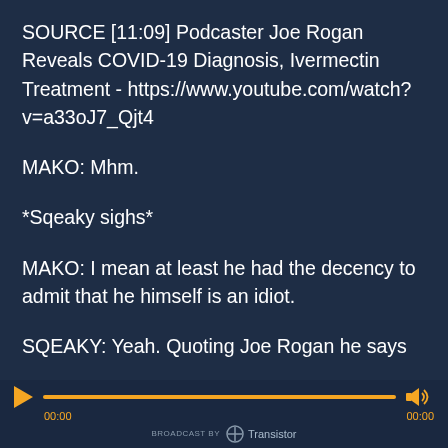SOURCE [11:09] Podcaster Joe Rogan Reveals COVID-19 Diagnosis, Ivermectin Treatment - https://www.youtube.com/watch?v=a33oJ7_Qjt4
MAKO: Mhm.
*Sqeaky sighs*
MAKO: I mean at least he had the decency to admit that he himself is an idiot.
SQEAKY: Yeah. Quoting Joe Rogan he says
[Figure (other): Audio player bar with orange play button, progress bar, volume icon, time labels 00:00 on both sides, and Transistor branding at the bottom]